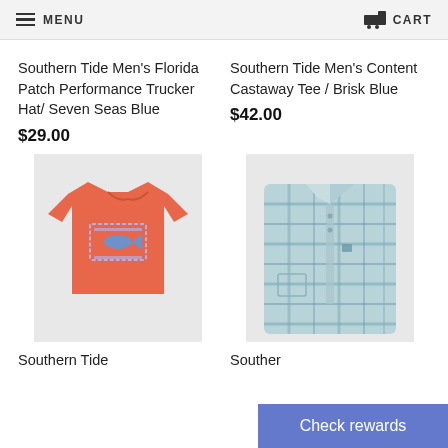MENU | CART
Southern Tide Men's Florida Patch Performance Trucker Hat/ Seven Seas Blue
$29.00
Southern Tide Men's Content Castaway Tee / Brisk Blue
$42.00
[Figure (photo): Salmon/coral colored t-shirt with a rectangular graphic on the back featuring a fish logo]
[Figure (photo): Blue plaid folded button-up shirt]
Southern Tide
Souther
Check rewards